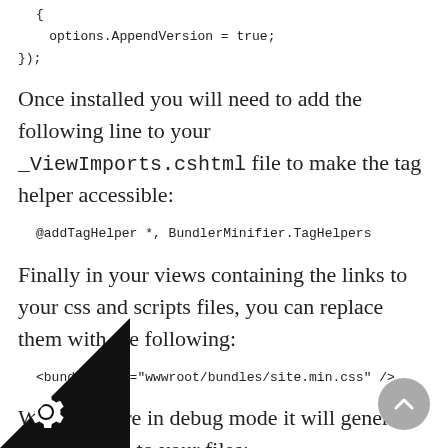{
    options.AppendVersion = true;
});
Once installed you will need to add the following line to your _ViewImports.cshtml file to make the tag helper accessible:
@addTagHelper *, BundlerMinifier.TagHelpers
Finally in your views containing the links to your css and scripts files, you can replace them with the following:
<bundle name="wwwroot/bundles/site.min.css" />
When you are in debug mode it will generate operate links to your files:
ef="/lib/bootstrap/dist/css/bootstrap.css" rel="style